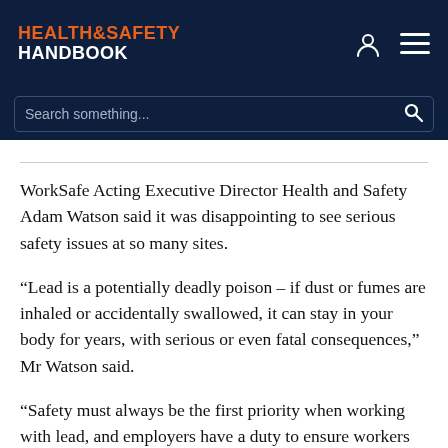HEALTH&SAFETY HANDBOOK
Search something...
WorkSafe Acting Executive Director Health and Safety Adam Watson said it was disappointing to see serious safety issues at so many sites.
“Lead is a potentially deadly poison – if dust or fumes are inhaled or accidentally swallowed, it can stay in your body for years, with serious or even fatal consequences,” Mr Watson said.
“Safety must always be the first priority when working with lead, and employers have a duty to ensure workers are appropriately trained and provided with safety equipment.”
WorkSafe Victoria has reminded businesses of their obligations under the Occupational Health and Safety